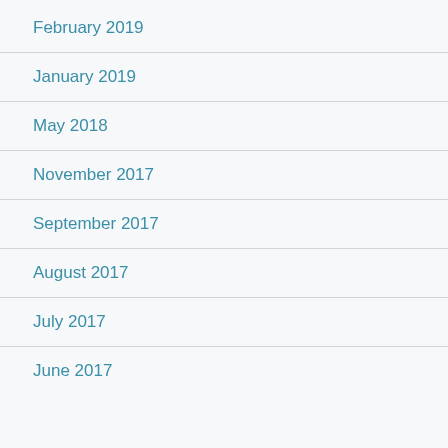February 2019
January 2019
May 2018
November 2017
September 2017
August 2017
July 2017
June 2017